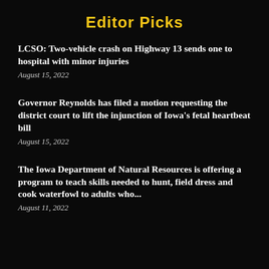Editor Picks
LCSO: Two-vehicle crash on Highway 13 sends one to hospital with minor injuries
August 15, 2022
Governor Reynolds has filed a motion requesting the district court to lift the injunction of Iowa’s fetal heartbeat bill
August 15, 2022
The Iowa Department of Natural Resources is offering a program to teach skills needed to hunt, field dress and cook waterfowl to adults who...
August 11, 2022